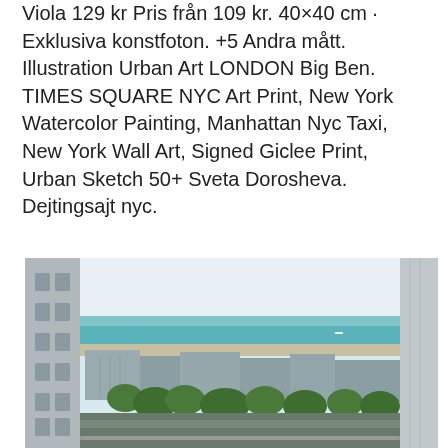Viola 129 kr Pris från 109 kr. 40×40 cm · Exklusiva konstfoton. +5 Andra mått. Illustration Urban Art LONDON Big Ben. TIMES SQUARE NYC Art Print, New York Watercolor Painting, Manhattan Nyc Taxi, New York Wall Art, Signed Giclee Print, Urban Sketch 50+ Sveta Dorosheva. Dejtingsajt nyc.
Rfsu göteborg kansli
[Figure (photo): View from a balcony or window showing urban buildings, trees, beach/coastline, and sea under a pale sky. In the foreground are building edges framing the scene. Mid-ground shows multi-story residential buildings and green trees. Background shows a wide sandy beach and turquoise-blue sea stretching to the horizon.]